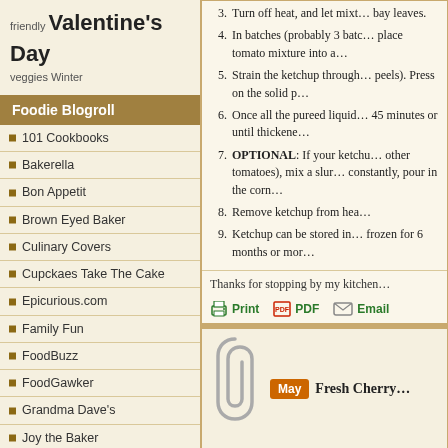friendly Valentine's Day veggies Winter
Foodie Blogroll
101 Cookbooks
Bakerella
Bon Appetit
Brown Eyed Baker
Culinary Covers
Cupckaes Take The Cake
Epicurious.com
Family Fun
FoodBuzz
FoodGawker
Grandma Dave's
Joy the Baker
Molly Wizenberg
Our Best Bites
Party Girl Catering
3. Turn off heat, and let mixt... bay leaves.
4. In batches (probably 3 batc... place tomato mixture into a...
5. Strain the ketchup through... peels). Press on the solid p...
6. Once all the pureed liquid... 45 minutes or until thickene...
7. OPTIONAL: If your ketchu... other tomatoes), mix a slur... constantly, pour in the corn...
8. Remove ketchup from hea...
9. Ketchup can be stored in... frozen for 6 months or mor...
Thanks for stopping by my kitchen...
Print  PDF  Email
May  Fresh Cherry...